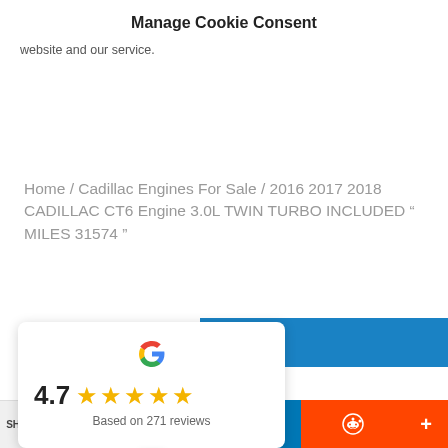Home / Cadillac Engines For Sale / 2016 2017 2018 CADILLAC CT6 Engine 3.0L TWIN TURBO INCLUDED " MILES 31574 "
Manage Cookie Consent
website and our service.
Accept
[Figure (infographic): Google review widget showing 4.7 star rating based on 271 reviews with Google G logo and five gold stars]
SHARES
[Figure (infographic): Social share bar with Facebook, Twitter, LinkedIn, Reddit, and more buttons]